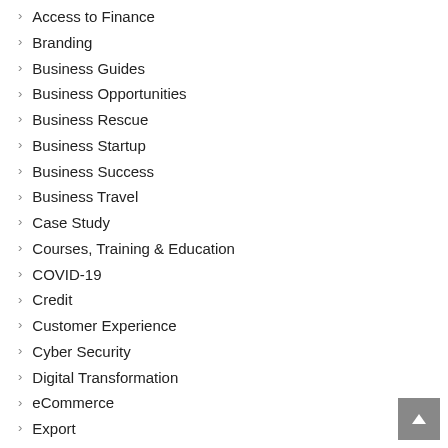Access to Finance
Branding
Business Guides
Business Opportunities
Business Rescue
Business Startup
Business Success
Business Travel
Case Study
Courses, Training & Education
COVID-19
Credit
Customer Experience
Cyber Security
Digital Transformation
eCommerce
Export
Fleet / Telematics
Franchises
Going Global
Growing a Business
Health & Wellness